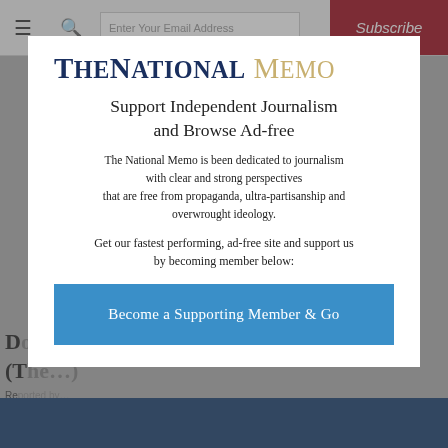[Figure (screenshot): Website navigation bar with hamburger menu, search icon, email subscription field, and red Subscribe button]
[Figure (screenshot): Background webpage content partially visible behind modal, showing article title starting with 'D' and 'T', byline starting with 'Re', and a photo]
TheNationalMemo
Support Independent Journalism and Browse Ad-free
The National Memo is been dedicated to journalism with clear and strong perspectives that are free from propaganda, ultra-partisanship and overwrought ideology.
Get our fastest performing, ad-free site and support us by becoming member below:
Become a Supporting Member & Go